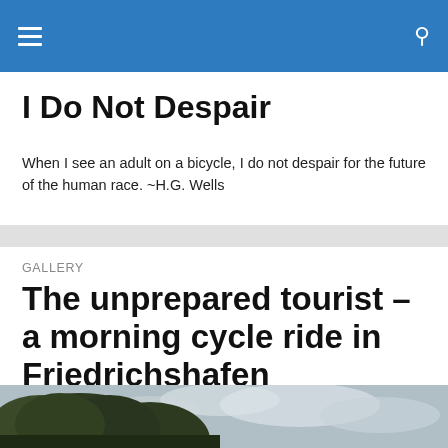I Do Not Despair
When I see an adult on a bicycle, I do not despair for the future of the human race. ~H.G. Wells
GALLERY
The unprepared tourist – a morning cycle ride in Friedrichshafen
[Figure (photo): Outdoor photo showing a large tree with dark foliage on the left side against a cloudy sky]